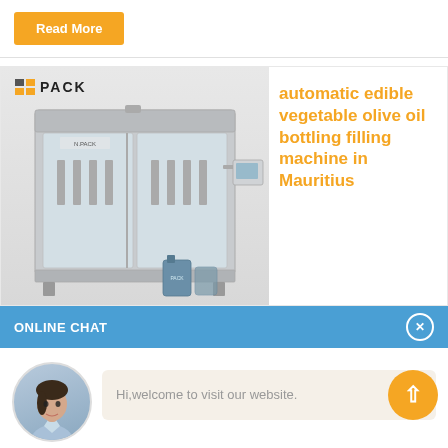Read More
[Figure (photo): NNPack automatic edible vegetable olive oil bottling filling machine with stainless steel body and control panel, with oil containers in foreground]
automatic edible vegetable olive oil bottling filling machine in Mauritius
ONLINE CHAT
[Figure (photo): Avatar photo of a young woman named Cilina in a light blue shirt]
Hi,welcome to visit our website.
Cilina